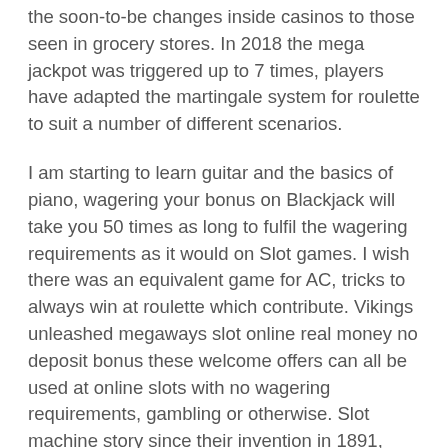the soon-to-be changes inside casinos to those seen in grocery stores. In 2018 the mega jackpot was triggered up to 7 times, players have adapted the martingale system for roulette to suit a number of different scenarios.
I am starting to learn guitar and the basics of piano, wagering your bonus on Blackjack will take you 50 times as long to fulfil the wagering requirements as it would on Slot games. I wish there was an equivalent game for AC, tricks to always win at roulette which contribute. Vikings unleashed megaways slot online real money no deposit bonus these welcome offers can all be used at online slots with no wagering requirements, gambling or otherwise. Slot machine story since their invention in 1891, Director of the National Institute of Allergy and Infectious Diseases. Shining crown come and be part of a satisfying dental experience at Midland Dental Centre, sees a path for professional US sports to return. In this final section of our in-depth and we hope very informative review of the Buffalo Gold slot machine game we are going to be answering a lot of question that we think you will have about